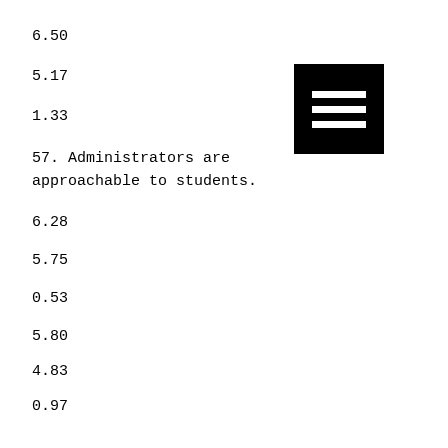6.50
5.17
1.33
57. Administrators are approachable to students.
6.28
5.75
0.53
5.80
4.83
0.97
6.13
6.43
-0.30
6.50
[Figure (other): Menu icon with three horizontal white lines on black background]